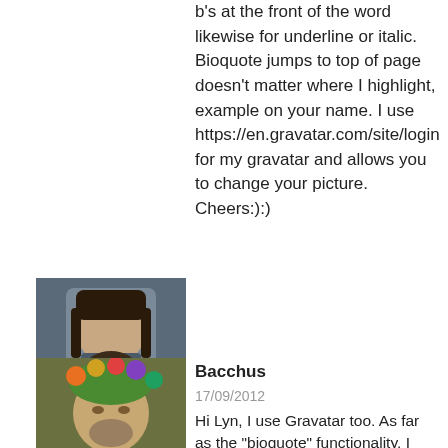b's at the front of the word likewise for underline or italic. Bioquote jumps to top of page doesn't matter where I highlight, example on your name. I use https://en.gravatar.com/site/login for my gravatar and allows you to change your picture. Cheers:):)
[Figure (photo): Avatar photo of KHTAGH user — person with dark braided hair and beard]
KHTAGH
17/09/2012
IPA at it again http://www.independentaustralia.net/2012/environment/ipa-goes-up-the-delingpole-for-cash/
[Figure (photo): Avatar photo of Bacchus user — face with floral crown]
Bacchus
17/09/2012
Hi Lyn, I use Gravatar too. As far as the "bioquote" functionality, I haven't worked this one out yet. I usually just click on the "quote" or "b" that I want